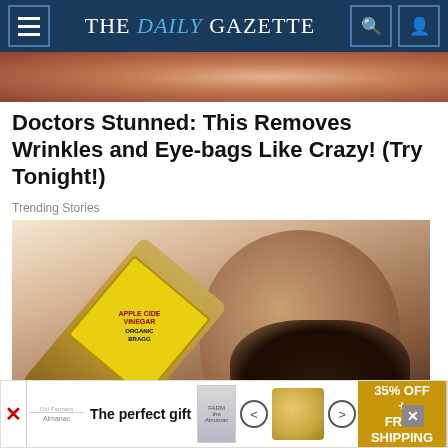THE DAILY GAZETTE
[Figure (photo): Cropped close-up photo of a person's face/skin, used as article header image]
Doctors Stunned: This Removes Wrinkles and Eye-bags Like Crazy! (Try Tonight!)
Trending Stories
[Figure (photo): Photo of a bearded man drinking directly from a large bottle of Apple Cider Vinegar]
[Figure (other): Advertisement banner: The perfect gift - 35% OFF + FREE SHIPPING]